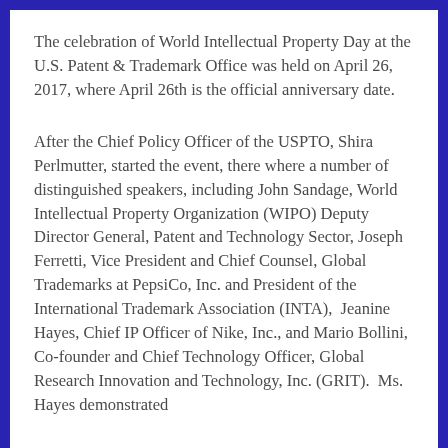The celebration of World Intellectual Property Day at the U.S. Patent & Trademark Office was held on April 26, 2017, where April 26th is the official anniversary date.
After the Chief Policy Officer of the USPTO, Shira Perlmutter, started the event, there where a number of distinguished speakers, including John Sandage, World Intellectual Property Organization (WIPO) Deputy Director General, Patent and Technology Sector, Joseph Ferretti, Vice President and Chief Counsel, Global Trademarks at PepsiCo, Inc. and President of the International Trademark Association (INTA), Jeanine Hayes, Chief IP Officer of Nike, Inc., and Mario Bollini, Co-founder and Chief Technology Officer, Global Research Innovation and Technology, Inc. (GRIT). Ms. Hayes demonstrated